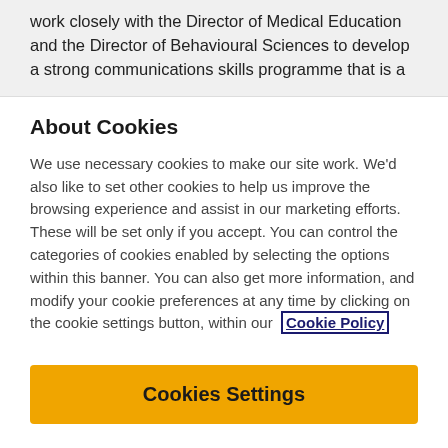work closely with the Director of Medical Education and the Director of Behavioural Sciences to develop a strong communications skills programme that is a
About Cookies
We use necessary cookies to make our site work. We'd also like to set other cookies to help us improve the browsing experience and assist in our marketing efforts. These will be set only if you accept. You can control the categories of cookies enabled by selecting the options within this banner. You can also get more information, and modify your cookie preferences at any time by clicking on the cookie settings button, within our Cookie Policy
Cookies Settings